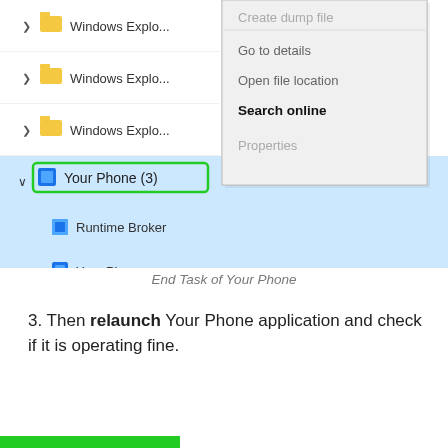[Figure (screenshot): Windows Task Manager showing process list with 'Your Phone (3)' selected and highlighted in blue with a green border. A right-click context menu is visible showing options: Create dump file (greyed), Go to details, Open file location, Search online (bold), Properties. Sub-processes shown: Runtime Broker, Your Phone, YourPhoneServer.exe. Three 'Windows Explo...' rows are visible above.]
End Task of Your Phone
3. Then relaunch Your Phone application and check if it is operating fine.